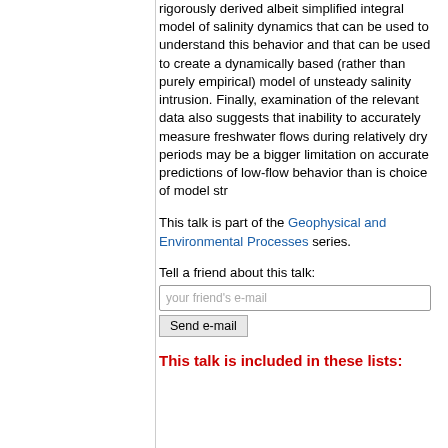rigorously derived albeit simplified integral model of salinity dynamics that can be used to understand this behavior and that can be used to create a dynamically based (rather than purely empirical) model of unsteady salinity intrusion. Finally, examination of the relevant data also suggests that inability to accurately measure freshwater flows during relatively dry periods may be a bigger limitation on accurate predictions of low-flow behavior than is choice of model str
This talk is part of the Geophysical and Environmental Processes series.
Tell a friend about this talk:
This talk is included in these lists: